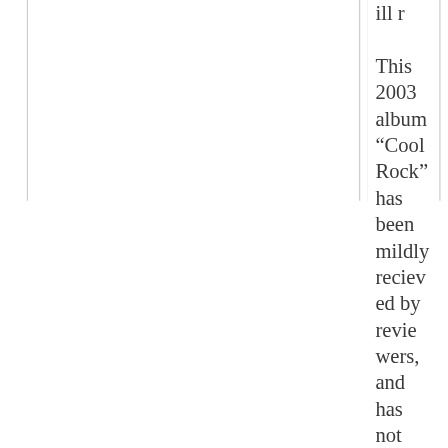This 2003 album “Cool Rock” has been mildly recieved by reviewers, and has not charted. that I